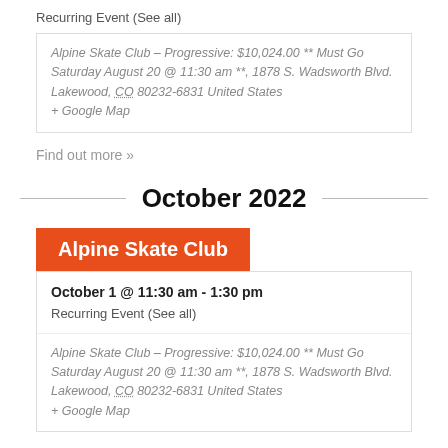Recurring Event (See all)
Alpine Skate Club – Progressive: $10,024.00 ** Must Go Saturday August 20 @ 11:30 am **, 1878 S. Wadsworth Blvd. Lakewood, CO 80232-6831 United States + Google Map
Find out more »
October 2022
Alpine Skate Club
October 1 @ 11:30 am - 1:30 pm
Recurring Event (See all)
Alpine Skate Club – Progressive: $10,024.00 ** Must Go Saturday August 20 @ 11:30 am **, 1878 S. Wadsworth Blvd. Lakewood, CO 80232-6831 United States + Google Map